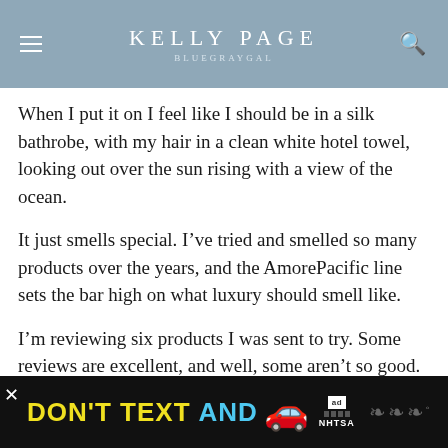KELLY PAGE
BLUEGRAYGAL
When I put it on I feel like I should be in a silk bathrobe, with my hair in a clean white hotel towel, looking out over the sun rising with a view of the ocean.
It just smells special. I've tried and smelled so many products over the years, and the AmorePacific line sets the bar high on what luxury should smell like.
I'm reviewing six products I was sent to try. Some reviews are excellent, and well, some aren't so good. Let's dive in....
[Figure (screenshot): Advertisement banner: DON'T TEXT AND [car emoji] with ad badge and NHTSA logo on black background]